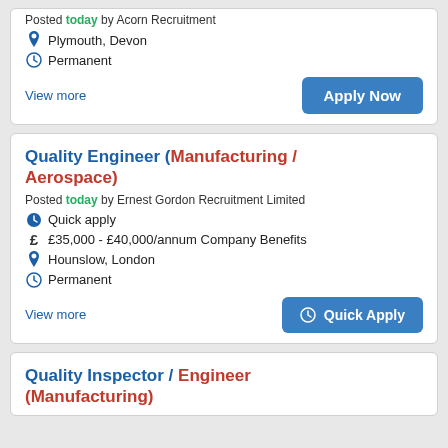Posted today by Acorn Recruitment
Plymouth, Devon
Permanent
View more
Apply Now
Quality Engineer (Manufacturing / Aerospace)
Posted today by Ernest Gordon Recruitment Limited
Quick apply
£35,000 - £40,000/annum Company Benefits
Hounslow, London
Permanent
View more
Quick Apply
Quality Inspector / Engineer (Manufacturing)